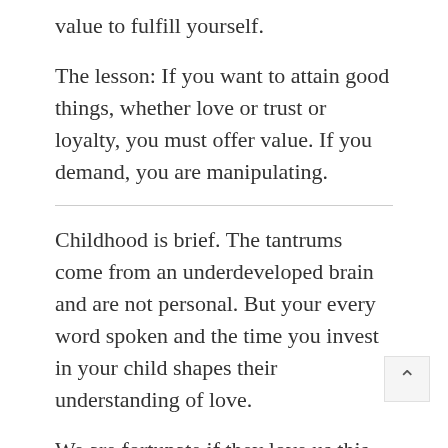value to fulfill yourself.
The lesson: If you want to attain good things, whether love or trust or loyalty, you must offer value. If you demand, you are manipulating.
Childhood is brief. The tantrums come from an underdeveloped brain and are not personal. But your every word spoken and the time you invest in your child shapes their understanding of love.
We are fortunate if they love us this much